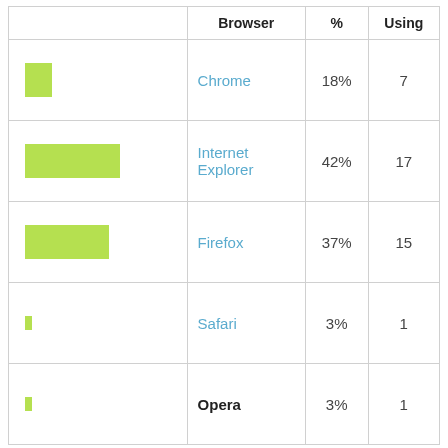|  | Browser | % | Using |
| --- | --- | --- | --- |
| [bar ~18%] | Chrome | 18% | 7 |
| [bar ~42%] | Internet Explorer | 42% | 17 |
| [bar ~37%] | Firefox | 37% | 15 |
| [bar ~3%] | Safari | 3% | 1 |
| [bar ~3%] | Opera | 3% | 1 |
Suggest Sites
www.brincar.pt
www.bdislamic.tk
www.ebaykleinanzeigen.de
www.anime1.com
www.allbanaadir.com